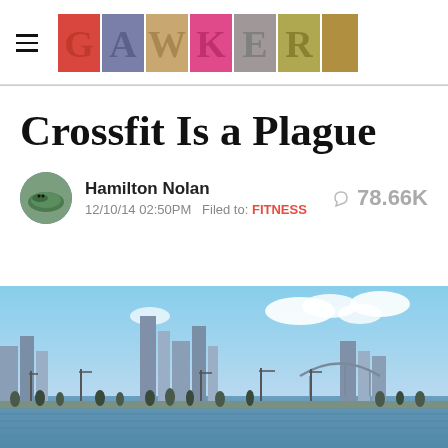GAWKER
Crossfit Is a Plague
Hamilton Nolan
12/10/14 02:50PM Filed to: FITNESS
78.66K
[Figure (photo): Outdoor fitness class with city skyline and bridge in background, people exercising on waterfront]